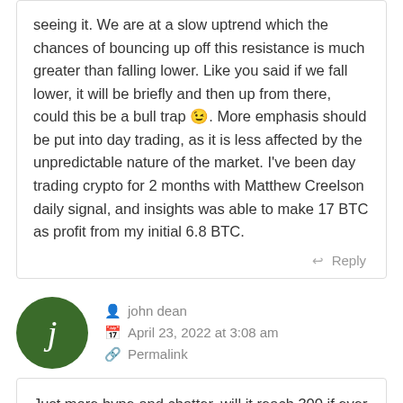seeing it. We are at a slow uptrend which the chances of bouncing up off this resistance is much greater than falling lower. Like you said if we fall lower, it will be briefly and then up from there, could this be a bull trap 🙂. More emphasis should be put into day trading, as it is less affected by the unpredictable nature of the market. I've been day trading crypto for 2 months with Matthew Creelson daily signal, and insights was able to make 17 BTC as profit from my initial 6.8 BTC.
Reply
john dean
April 23, 2022 at 3:08 am
Permalink
Just more hype and chatter, will it reach 300 if ever let's see